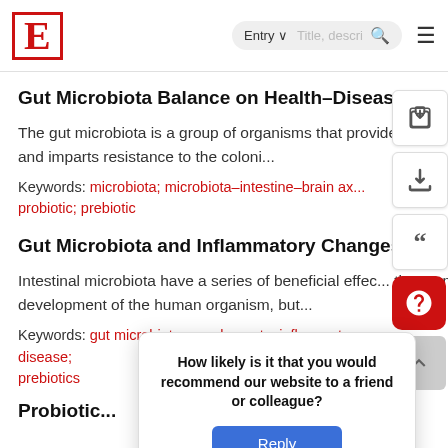E [logo] | Entry ˅ | Title, descri... [search] | ≡
Gut Microbiota Balance on Health–Disease
The gut microbiota is a group of organisms that provides various benefits and imparts resistance to the coloni...
Keywords: microbiota; microbiota–intestine–brain ax...; probiotic; prebiotic
Gut Microbiota and Inflammatory Changes
Intestinal microbiota have a series of beneficial effec... the normal development of the human organism, but...
Keywords: gut microbiota; supplements; inflammatory...; disease; ...cs; prebiotics; ...a
How likely is it that you would recommend our website to a friend or colleague?
Probiotic...